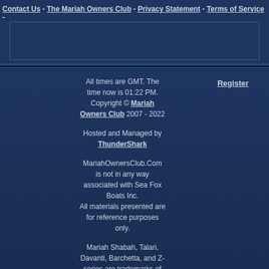Contact Us - The Mariah Owners Club - Privacy Statement - Terms of Service -
All times are GMT. The time now is 01:22 PM. Copyright © Mariah Owners Club 2007 - 2022

Hosted and Managed by ThunderShark

MariahOwnersClub.Com is not in any way associated with Sea Fox Boats Inc.
All materials presented are for reference purposes only.

Mariah Shabah, Talari, Davanti, Barchetta, and Z-series are trademarks of Mariah Boats Inc.

Mariah SX, SC, FS, and DX series are trademarks of Sea Fox Boats Inc; the current manufacturer of Mariah Boats.
Register